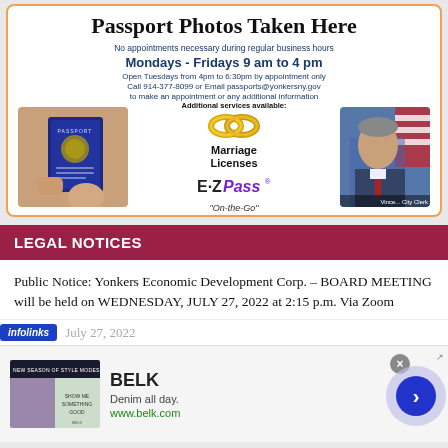[Figure (infographic): Passport Photos Taken Here advertisement with passport image, wedding rings, E-ZPass logo, and City Clerk photo. Text: No appointments necessary during regular business hours. Mondays - Fridays 9 am to 4 pm. Open Tuesdays from 4pm to 6:30pm by appointment only. Call 914-377-8099 or Email passports@yonkersny.gov to make an appointment or any additional information. Additional services available: Marriage Licenses. E-ZPass On-the-Go.]
LEGAL NOTICES
Public Notice: Yonkers Economic Development Corp. – BOARD MEETING will be held on WEDNESDAY, JULY 27, 2022 at 2:15 p.m. Via Zoom
[Figure (infographic): Infolinks advertisement bar with date July 27, 2022, followed by BELK advertisement showing 'Denim all day.' and www.belk.com]